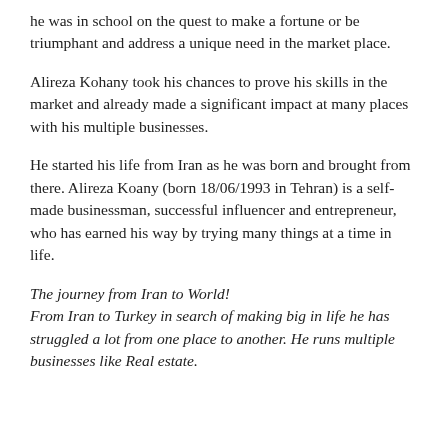he was in school on the quest to make a fortune or be triumphant and address a unique need in the market place.
Alireza Kohany took his chances to prove his skills in the market and already made a significant impact at many places with his multiple businesses.
He started his life from Iran as he was born and brought from there. Alireza Koany (born 18/06/1993 in Tehran) is a self-made businessman, successful influencer and entrepreneur, who has earned his way by trying many things at a time in life.
The journey from Iran to World!
From Iran to Turkey in search of making big in life he has struggled a lot from one place to another. He runs multiple businesses like Real estate.